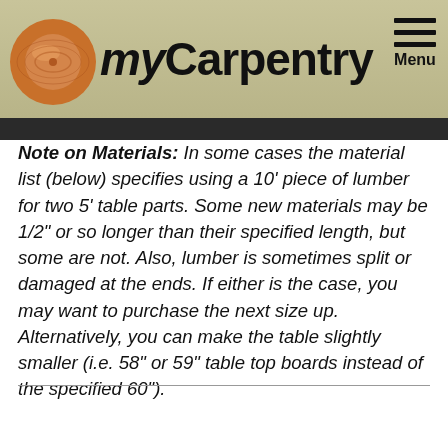myCarpentry
Note on Materials: In some cases the material list (below) specifies using a 10' piece of lumber for two 5' table parts. Some new materials may be 1/2" or so longer than their specified length, but some are not. Also, lumber is sometimes split or damaged at the ends. If either is the case, you may want to purchase the next size up. Alternatively, you can make the table slightly smaller (i.e. 58" or 59" table top boards instead of the specified 60").